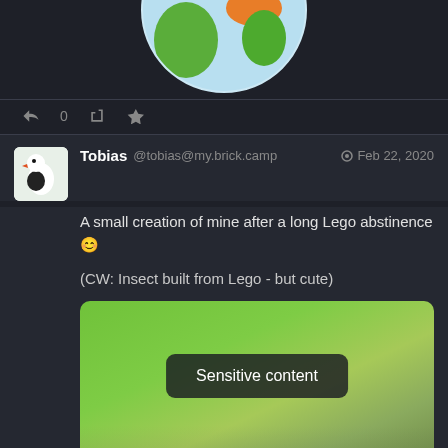[Figure (illustration): Partial view of a globe emoji (India flag colors) at top of page, cropped]
0  [retweet icon]  [star icon]
Tobias @tobias@my.brick.camp  Feb 22, 2020
A small creation of mine after a long Lego abstinence 😊
(CW: Insect built from Lego - but cute)
[Figure (photo): Blurred/sensitive content image placeholder with green gradient background and 'Sensitive content' button overlay]
0  [retweet icon]  [star icon]